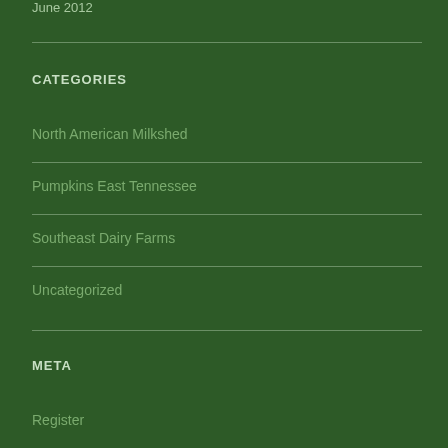June 2012
CATEGORIES
North American Milkshed
Pumpkins East Tennessee
Southeast Dairy Farms
Uncategorized
META
Register